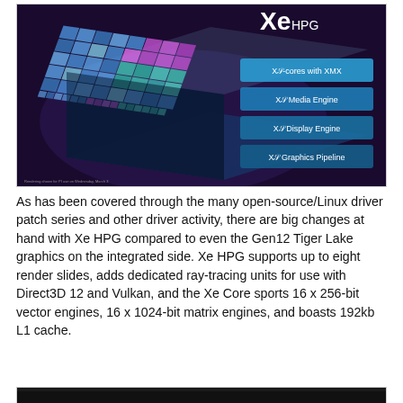[Figure (illustration): Intel Xe HPG chip die shot with labeled feature callouts: Xe-cores with XMX, Xe Media Engine, Xe Display Engine, Xe Graphics Pipeline. Dark purple background with colorful chip die.]
As has been covered through the many open-source/Linux driver patch series and other driver activity, there are big changes at hand with Xe HPG compared to even the Gen12 Tiger Lake graphics on the integrated side. Xe HPG supports up to eight render slides, adds dedicated ray-tracing units for use with Direct3D 12 and Vulkan, and the Xe Core sports 16 x 256-bit vector engines, 16 x 1024-bit matrix engines, and boasts 192kb L1 cache.
[Figure (photo): Bottom partial image, dark/black, cropped at bottom of page.]